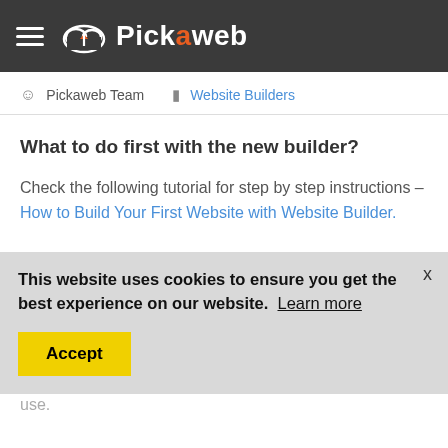Pickaweb
Pickaweb Team   Website Builders
What to do first with the new builder?
Check the following tutorial for step by step instructions – How to Build Your First Website with Website Builder.
This website uses cookies to ensure you get the best experience on our website. Learn more
If you are using website builder we will show you how to quickly get started.
First you have to select the template that you want to use.